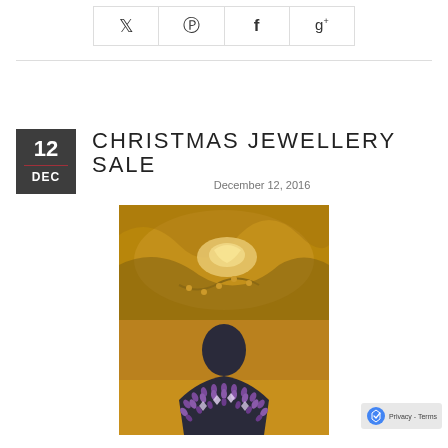[Figure (other): Social sharing buttons: Twitter (bird), Pinterest (P), Facebook (f), Google+ (g+)]
CHRISTMAS JEWELLERY SALE
December 12, 2016
[Figure (photo): Two photos of jewellery: top image shows golden bracelet/jewellery on draped golden fabric; bottom image shows a beaded necklace collar on a black display bust]